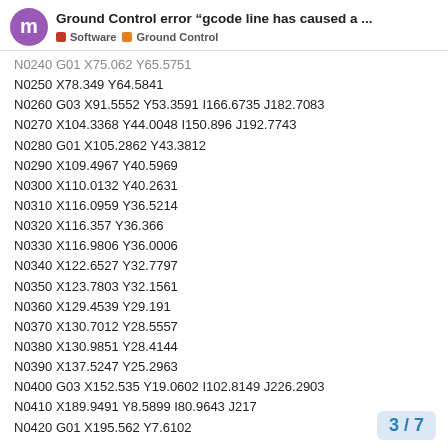Ground Control error “gcode line has caused a … ■ Software ■ Ground Control
N0240 G01 X75.062 Y65.5751
N0250 X78.349 Y64.5841
N0260 G03 X91.5552 Y53.3591 I166.6735 J182.7083
N0270 X104.3368 Y44.0048 I150.896 J192.7743
N0280 G01 X105.2862 Y43.3812
N0290 X109.4967 Y40.5969
N0300 X110.0132 Y40.2631
N0310 X116.0959 Y36.5214
N0320 X116.357 Y36.366
N0330 X116.9806 Y36.0006
N0340 X122.6527 Y32.7797
N0350 X123.7803 Y32.1561
N0360 X129.4539 Y29.191
N0370 X130.7012 Y28.5557
N0380 X130.9851 Y28.4144
N0390 X137.5247 Y25.2963
N0400 G03 X152.535 Y19.0602 I102.8149 J226.2903
N0410 X189.9491 Y8.5899 I80.9643 J217
N0420 G01 X195.562 Y7.6102
3 / 7